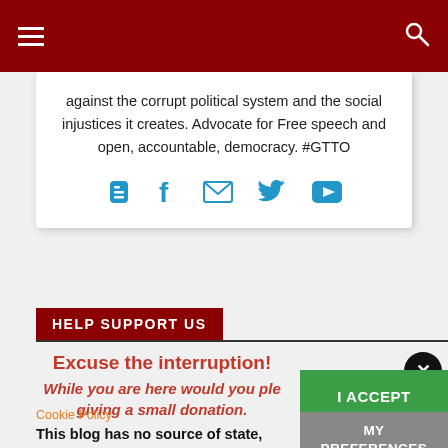Navigation bar with hamburger menu and search icon
against the corrupt political system and the social injustices it creates. Advocate for Free speech and open, accountable, democracy. #GTTO
[Figure (infographic): Social media icons: Blogger, Facebook, Email, Twitter, YouTube in blue]
HELP SUPPORT US
Excuse the interruption!
While you are here would you ple... giving a small donation.
Cookie Policy
This blog has no source of state, corp... institutional finance whatsoever. It runs entirely on